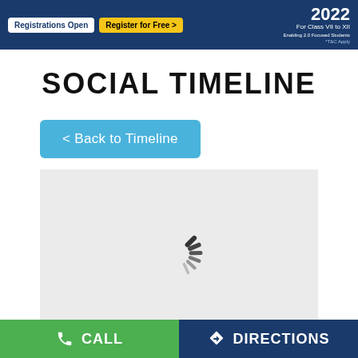[Figure (screenshot): Banner with dark blue background showing 'Registrations Open' white button, 'Register for Free >' yellow button on left, and '2022 For Class VII to XII' text on right]
SOCIAL TIMELINE
< Back to Timeline
[Figure (screenshot): Loading spinner on light gray background showing animated dash/tick marks in a circular pattern (loading indicator)]
CALL    DIRECTIONS